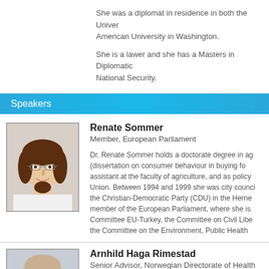She was a diplomat in residence in both the University and American University in Washington.
She is a lawer and she has a Masters in Diplomatic ... National Security.
Speakers
[Figure (photo): Portrait photo of Renate Sommer, a woman with brown hair and glasses, smiling.]
Renate Sommer
Member, European Parliament
Dr. Renate Sommer holds a doctorate degree in ag... (dissertation on consumer behaviour in buying fo... assistant at the faculty of agriculture, and as policy... Union. Between 1994 and 1999 she was city counci... the Christian-Democratic Party (CDU) in the Herne... member of the European Parliament, where she is... Committee EU-Turkey, the Committee on Civil Libe... the Committee on the Environment, Public Health
[Figure (photo): Portrait photo of Arnhild Haga Rimestad, a woman with light hair.]
Arnhild Haga Rimestad
Senior Advisor, Norwegian Directorate of Health